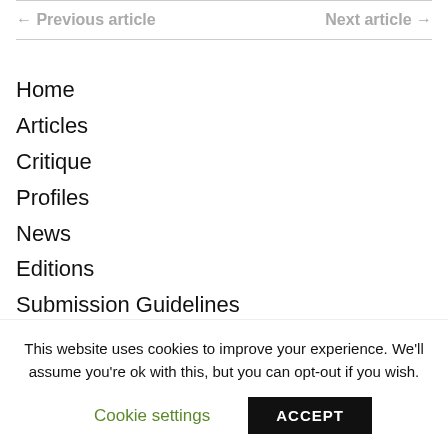← Previous article    Next article →
Home
Articles
Critique
Profiles
News
Editions
Submission Guidelines
Writers' Style Guide
What's On in Ireland
This website uses cookies to improve your experience. We'll assume you're ok with this, but you can opt-out if you wish.
Cookie settings    ACCEPT